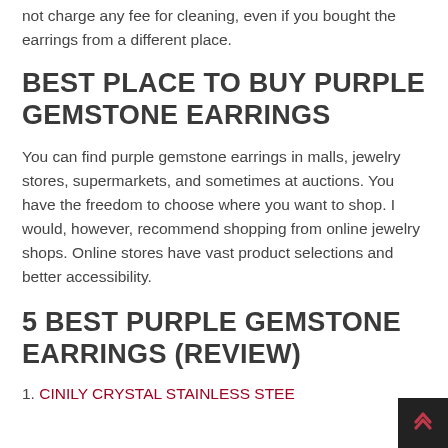not charge any fee for cleaning, even if you bought the earrings from a different place.
BEST PLACE TO BUY PURPLE GEMSTONE EARRINGS
You can find purple gemstone earrings in malls, jewelry stores, supermarkets, and sometimes at auctions. You have the freedom to choose where you want to shop. I would, however, recommend shopping from online jewelry shops. Online stores have vast product selections and better accessibility.
5 BEST PURPLE GEMSTONE EARRINGS (REVIEW)
1. CINILY CRYSTAL STAINLESS STEE…